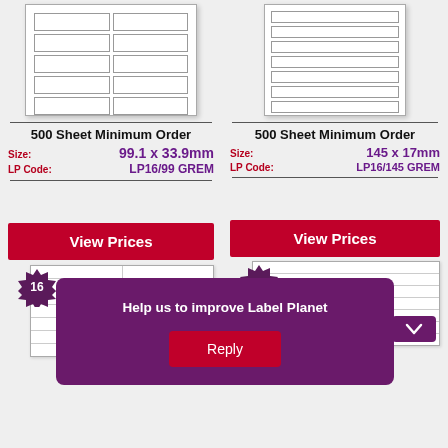[Figure (illustration): Label sheet diagram showing 2-column grid layout of labels, top-left panel]
500 Sheet Minimum Order
Size: 99.1 x 33.9mm
LP Code: LP16/99 GREM
[Figure (illustration): Label sheet diagram showing narrow rows layout, top-right panel]
500 Sheet Minimum Order
Size: 145 x 17mm
LP Code: LP16/145 GREM
View Prices
View Prices
[Figure (illustration): Label sheet with badge showing 16 labels, bottom-left]
[Figure (illustration): Label sheet with badge showing 16 labels, bottom-right]
Help us to improve Label Planet
Reply